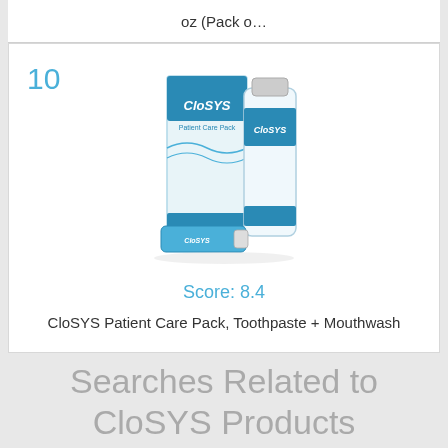oz (Pack o…
10
[Figure (photo): CloSYS Patient Care Pack product photo showing toothpaste tube and mouthwash bottle with teal/blue packaging]
Score: 8.4
CloSYS Patient Care Pack, Toothpaste + Mouthwash
Searches Related to CloSYS Products